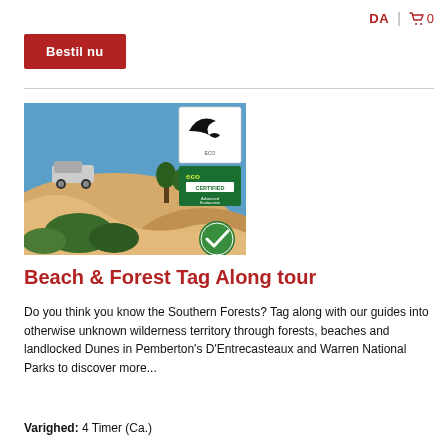DA | 🛒 0
Bestil nu
[Figure (photo): Tour vehicle on sand dunes with blue sky; eco certified Advanced Ecotourism badge and bird logo overlaid; green checkmark badge at bottom right]
Beach & Forest Tag Along tour
Do you think you know the Southern Forests? Tag along with our guides into otherwise unknown wilderness territory through forests, beaches and landlocked Dunes in Pemberton's D'Entrecasteaux and Warren National Parks to discover more...
Varighed: 4 Timer (Ca.)